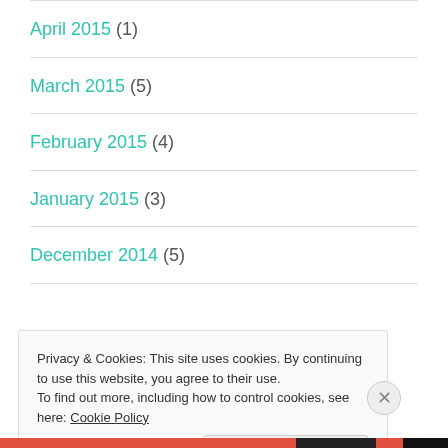April 2015 (1)
March 2015 (5)
February 2015 (4)
January 2015 (3)
December 2014 (5)
Privacy & Cookies: This site uses cookies. By continuing to use this website, you agree to their use.
To find out more, including how to control cookies, see here: Cookie Policy
Close and accept